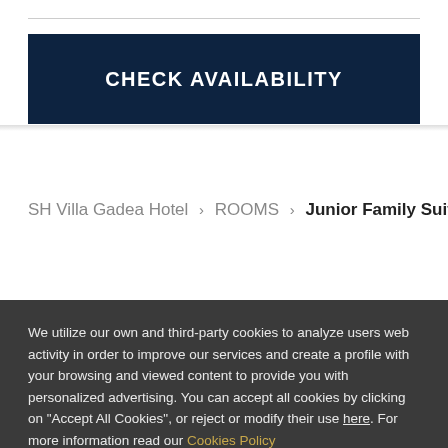CHECK AVAILABILITY
SH Villa Gadea Hotel > ROOMS > Junior Family Suite
We utilize our own and third-party cookies to analyze users web activity in order to improve our services and create a profile with your browsing and viewed content to provide you with personalized advertising. You can accept all cookies by clicking on "Accept All Cookies", or reject or modify their use here. For more information read our Cookies Policy
ACCEPT ALL